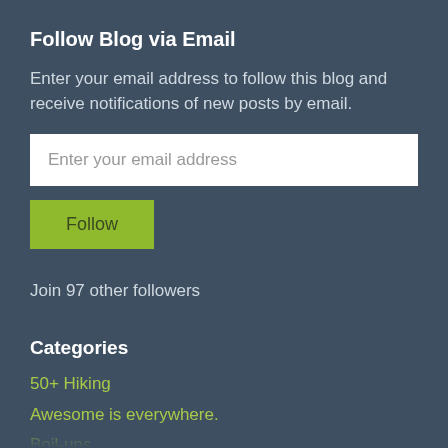Follow Blog via Email
Enter your email address to follow this blog and receive notifications of new posts by email.
Enter your email address
Follow
Join 97 other followers
Categories
50+ Hiking
Awesome is everywhere.
Boil-ups
Codroy Valley
Comfort Cove